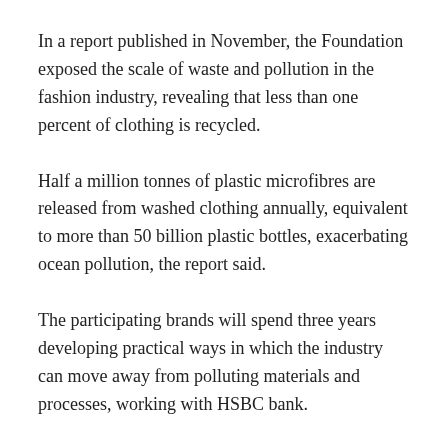In a report published in November, the Foundation exposed the scale of waste and pollution in the fashion industry, revealing that less than one percent of clothing is recycled.
Half a million tonnes of plastic microfibres are released from washed clothing annually, equivalent to more than 50 billion plastic bottles, exacerbating ocean pollution, the report said.
The participating brands will spend three years developing practical ways in which the industry can move away from polluting materials and processes, working with HSBC bank.